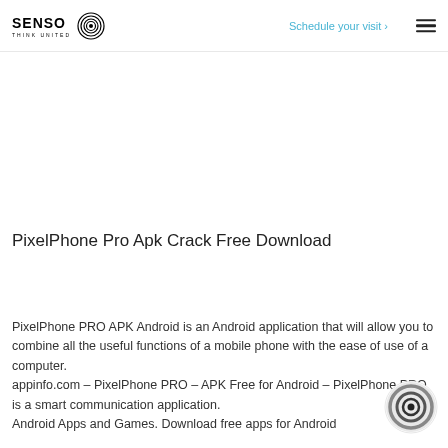SENSO THINK UNITED | Schedule your visit
PixelPhone Pro Apk Crack Free Download
PixelPhone PRO APK Android is an Android application that will allow you to combine all the useful functions of a mobile phone with the ease of use of a computer. appinfo.com – PixelPhone PRO – APK Free for Android – PixelPhone PRO is a smart communication application. Android Apps and Games. Download free apps for Android